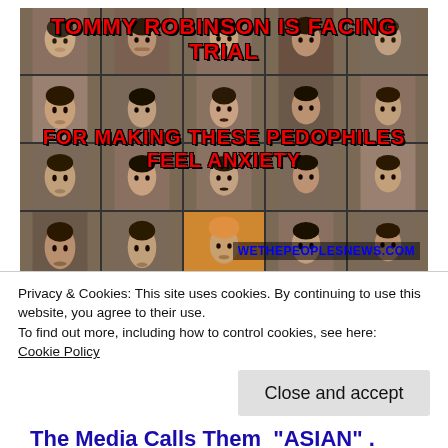[Figure (photo): Grid of mugshot-style photographs of multiple men with red bold text overlaid reading 'TOMMY ROBINSON IS FACING TRIAL' on top and 'FOR MAKING THESE PEDOPHILES FEEL ANXIETY' in the middle, with watermark 'WETHEPEOPLESNEWS.COM' at bottom right.]
There is no freedom left in the world except in America. There is no Freee press nor Free Speech left in Europe! Tommy does not even
Privacy & Cookies: This site uses cookies. By continuing to use this website, you agree to their use.
To find out more, including how to control cookies, see here:
Cookie Policy
Close and accept
The Media Calls Them  'ASIAN' .